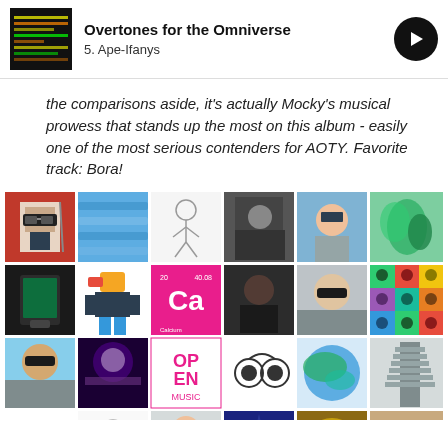Overtones for the Omniverse / 5. Ape-Ifanys
the comparisons aside, it's actually Mocky's musical prowess that stands up the most on this album - easily one of the most serious contenders for AOTY. Favorite track: Bora!
[Figure (photo): Grid of user profile photos and avatars arranged in rows]